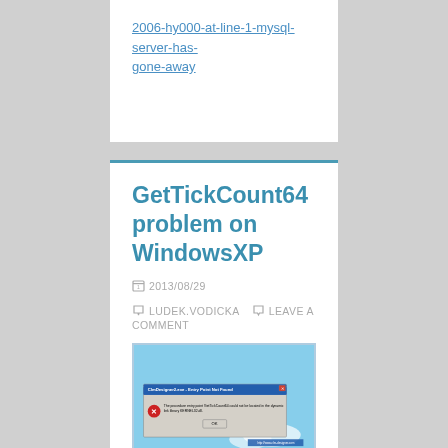2006-hy000-at-line-1-mysql-server-has-gone-away
GetTickCount64 problem on WindowsXP
2013/08/29  LUDEK.VODICKA  LEAVE A COMMENT
[Figure (screenshot): Windows XP error dialog: ClmDesigner2.exe - Entry Point Not Found. The procedure entry point GetTickCount64 could not be located in the dynamic link library KERNEL32.dll. OK button shown.]
The procedure entry point GetTickCount64 could not be